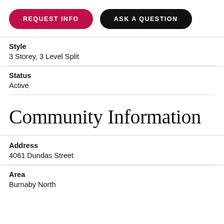[Figure (other): Two buttons: REQUEST INFO (crimson/red pill-shaped) and ASK A QUESTION (black pill-shaped)]
Style
3 Storey, 3 Level Split
Status
Active
Community Information
Address
4061 Dundas Street
Area
Burnaby North